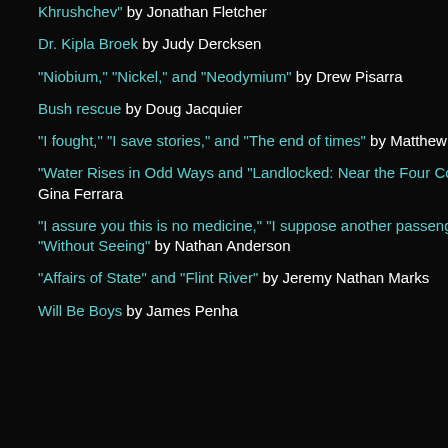Khrushchev" by Jonathan Fletcher
Dr. Kipla Broek by Judy Dercksen
"Niobium," "Nickel," and "Neodymium" by Drew Pisarra
Bush rescue by Doug Jacquier
"I fought," "I save stories," and "The end of times" by Matthew Borczon
"Water Rises in Odd Ways and "Landlocked: Near the Four Corners" by Gina Ferrara
"I assure you this is no medicine," "I suppose another passenger," and "Without Seeing" by Nathan Anderson
"Affairs of State" and "Flint River" by Jeremy Nathan Marks
Will Be Boys by James Penha